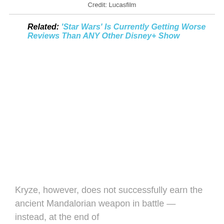Credit: Lucasfilm
Related: 'Star Wars' Is Currently Getting Worse Reviews Than ANY Other Disney+ Show
Kryze, however, does not successfully earn the ancient Mandalorian weapon in battle — instead, at the end of